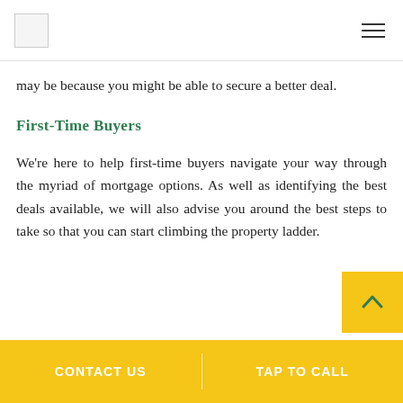[Logo] [Menu]
may be because you might be able to secure a better deal.
First-Time Buyers
We're here to help first-time buyers navigate your way through the myriad of mortgage options. As well as identifying the best deals available, we will also advise you around the best steps to take so that you can start climbing the property ladder.
CONTACT US | TAP TO CALL